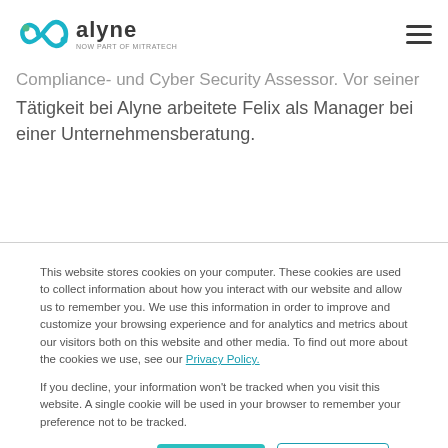alyne – now part of MITRATECH
Compliance- und Cyber Security Assessor. Vor seiner Tätigkeit bei Alyne arbeitete Felix als Manager bei einer Unternehmensberatung.
This website stores cookies on your computer. These cookies are used to collect information about how you interact with our website and allow us to remember you. We use this information in order to improve and customize your browsing experience and for analytics and metrics about our visitors both on this website and other media. To find out more about the cookies we use, see our Privacy Policy.

If you decline, your information won't be tracked when you visit this website. A single cookie will be used in your browser to remember your preference not to be tracked.